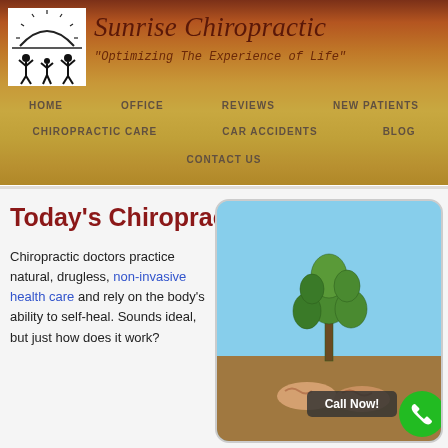[Figure (logo): Sunrise Chiropractic logo with sun rising over silhouettes of family figures (adults and child with arms raised)]
Sunrise Chiropractic
"Optimizing The Experience of Life"
HOME   OFFICE   REVIEWS   NEW PATIENTS   CHIROPRACTIC CARE   CAR ACCIDENTS   BLOG   CONTACT US
Today's Chiropractic
Chiropractic doctors practice natural, drugless, non-invasive health care and rely on the body's ability to self-heal. Sounds ideal, but just how does it work?
[Figure (photo): Hands holding a small green plant/seedling against a blue sky background, with a 'Call Now!' button overlay and green phone icon circle]